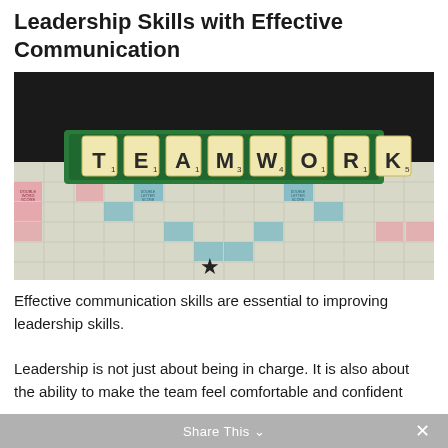Leadership Skills with Effective Communication
[Figure (photo): A Scrabble tile rack spelling out 'TEAMWORK' on a Scrabble board. The tiles are cream-colored with dark letters and small subscript numbers. The board shows colored premium squares (pink and blue) in a dark background setting.]
Effective communication skills are essential to improving leadership skills.
Leadership is not just about being in charge. It is also about the ability to make the team feel comfortable and confident
Share This ∨